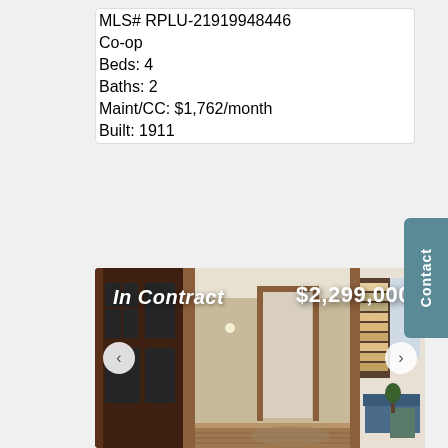| MLS# RPLU-21919948446 |
| Co-op |
| Beds: 4 |
| Baths: 2 |
| Maint/CC: $1,762/month |
| Built: 1911 |
[Figure (photo): Interior hallway photo showing wood-trimmed doorways and corridor, with a living room with bookshelves and blue sofa visible on the right. Overlay text reads 'In Contract' and '$2,299,000'.]